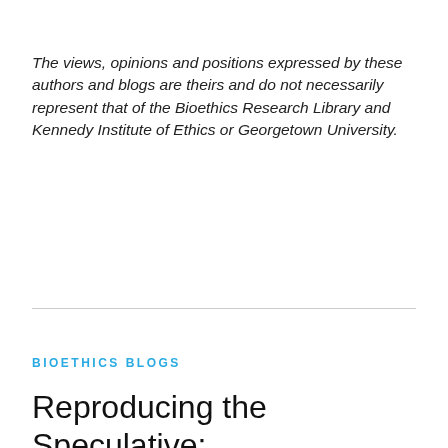The views, opinions and positions expressed by these authors and blogs are theirs and do not necessarily represent that of the Bioethics Research Library and Kennedy Institute of Ethics or Georgetown University.
BIOETHICS BLOGS
Reproducing the Speculative: